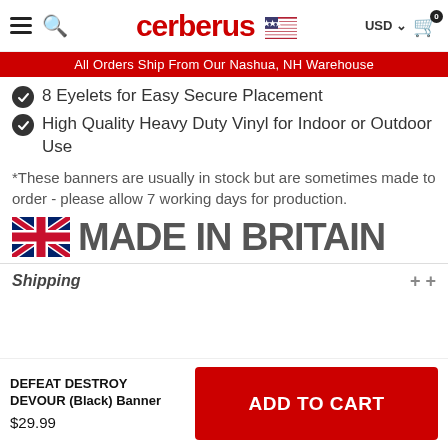cerberus — USD — cart 0
All Orders Ship From Our Nashua, NH Warehouse
8 Eyelets for Easy Secure Placement
High Quality Heavy Duty Vinyl for Indoor or Outdoor Use
*These banners are usually in stock but are sometimes made to order - please allow 7 working days for production.
[Figure (illustration): UK flag followed by bold grey text MADE IN BRITAIN]
Shipping
DEFEAT DESTROY DEVOUR (Black) Banner
$29.99
ADD TO CART